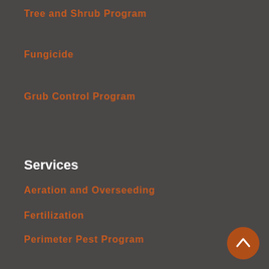Tree and Shrub Program
Fungicide
Grub Control Program
Services
Aeration and Overseeding
Fertilization
Perimeter Pest Program
Mosquito Program
Flea and Tick Program
Mole Control
Vole Control
Weed Control
Fungicide